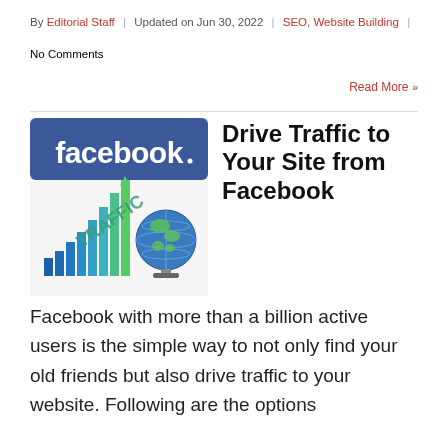By Editorial Staff | Updated on Jun 30, 2022 | SEO, Website Building | No Comments
Read More »
[Figure (illustration): Facebook logo banner (blue background with white 'facebook' text) above a graphic showing a bar chart with 'TRAFFIC' text and a globe, representing driving traffic to a website]
Drive Traffic to Your Site from Facebook
Facebook with more than a billion active users is the simple way to not only find your old friends but also drive traffic to your website. Following are the options